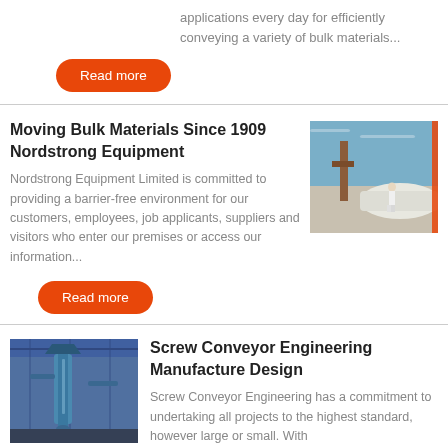applications every day for efficiently conveying a variety of bulk materials...
Read more
Moving Bulk Materials Since 1909 Nordstrong Equipment
Nordstrong Equipment Limited is committed to providing a barrier-free environment for our customers, employees, job applicants, suppliers and visitors who enter our premises or access our information...
[Figure (photo): Outdoor industrial site with a person in white standing near mining or bulk material handling equipment]
Read more
[Figure (photo): Indoor industrial facility with large blue screw conveyor or grain handling equipment]
Screw Conveyor Engineering Manufacture Design
Screw Conveyor Engineering has a commitment to undertaking all projects to the highest standard, however large or small. With